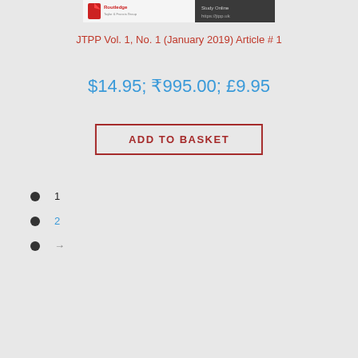[Figure (logo): Routledge / journal banner with red logo on left and 'Study Online https://jtpp.uk' text on dark gradient right side]
JTPP Vol. 1, No. 1 (January 2019) Article # 1
$14.95; ₹995.00; £9.95
ADD TO BASKET
1
2
→